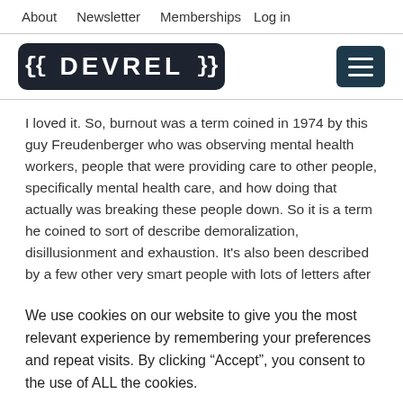About   Newsletter   Memberships   Log in
[Figure (logo): DEVREL logo — white text on dark background with curly braces, and a hamburger menu icon on the right]
I loved it. So, burnout was a term coined in 1974 by this guy Freudenberger who was observing mental health workers, people that were providing care to other people, specifically mental health care, and how doing that actually was breaking these people down. So it is a term he coined to sort of describe demoralization, disillusionment and exhaustion. It's also been described by a few other very smart people with lots of letters after
We use cookies on our website to give you the most relevant experience by remembering your preferences and repeat visits. By clicking “Accept”, you consent to the use of ALL the cookies.
Cookie settings   ACCEPT